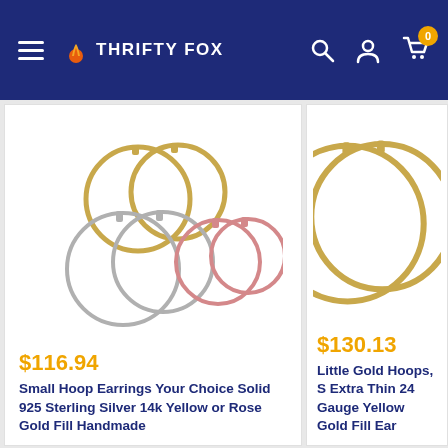THRIFTY FOX
[Figure (photo): Three pairs of hoop earrings: gold, silver, and rose gold hoop earrings displayed on white background]
$116.94
Small Hoop Earrings Your Choice Solid 925 Sterling Silver 14k Yellow or Rose Gold Fill Handmade
[Figure (photo): Large gold hoop earrings, extra thin, displayed on white background, partially visible]
$130.13
Little Gold Hoops, S Extra Thin 24 Gauge Yellow Gold Fill Ear